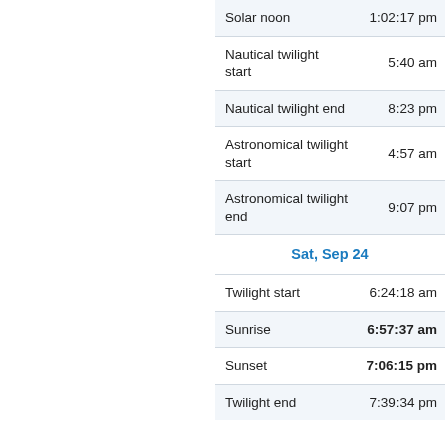| Event | Time |
| --- | --- |
| Solar noon | 1:02:17 pm |
| Nautical twilight start | 5:40 am |
| Nautical twilight end | 8:23 pm |
| Astronomical twilight start | 4:57 am |
| Astronomical twilight end | 9:07 pm |
| Sat, Sep 24 |  |
| Twilight start | 6:24:18 am |
| Sunrise | 6:57:37 am |
| Sunset | 7:06:15 pm |
| Twilight end | 7:39:34 pm |